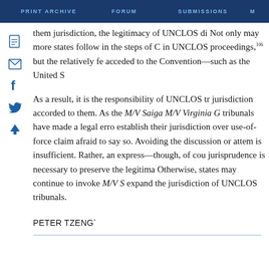PRINT ARCHIVE   FORUM   SUBMISSIONS   M
them jurisdiction, the legitimacy of UNCLOS di Not only may more states follow in the steps of C in UNCLOS proceedings,¹⁰⁶ but the relatively fe acceded to the Convention—such as the United S
As a result, it is the responsibility of UNCLOS tr jurisdiction accorded to them. As the M/V Saiga M/V Virginia G tribunals have made a legal erro establish their jurisdiction over use-of-force claim afraid to say so. Avoiding the discussion or attem is insufficient. Rather, an express—though, of cou jurisprudence is necessary to preserve the legitima Otherwise, states may continue to invoke M/V S expand the jurisdiction of UNCLOS tribunals.
PETER TZENG*